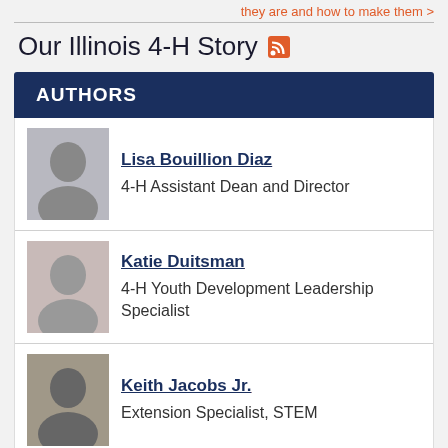they are and how to make them >
Our Illinois 4-H Story
AUTHORS
Lisa Bouillion Diaz
4-H Assistant Dean and Director
Katie Duitsman
4-H Youth Development Leadership Specialist
Keith Jacobs Jr.
Extension Specialist, STEM